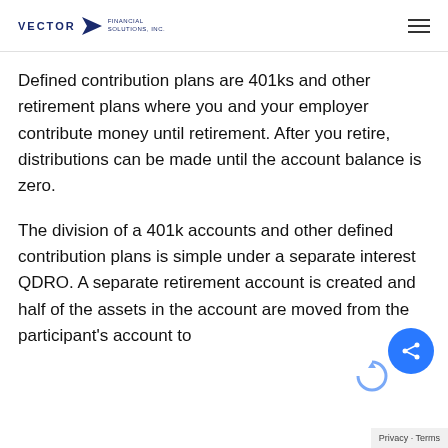VECTOR Financial Solutions, Inc. — navigation header with hamburger menu
Defined contribution plans are 401ks and other retirement plans where you and your employer contribute money until retirement. After you retire, distributions can be made until the account balance is zero.
The division of a 401k accounts and other defined contribution plans is simple under a separate interest QDRO. A separate retirement account is created and half of the assets in the account are moved from the participant’s account to